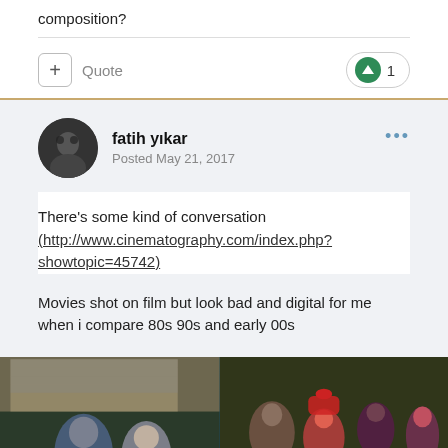composition?
Quote
1
fatih yıkar
Posted May 21, 2017
There's some kind of conversation (http://www.cinematography.com/index.php?showtopic=45742)
Movies shot on film but look bad and digital for me when i compare 80s 90s and early 00s
[Figure (photo): Two side-by-side movie stills: left shows a man and woman sitting on a couch in a room, right shows a group of people outdoors including someone in a Spider-Man costume.]